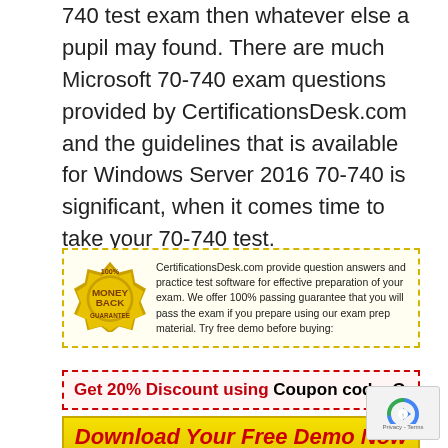740 test exam then whatever else a pupil may found. There are much Microsoft 70-740 exam questions provided by CertificationsDesk.com and the guidelines that is available for Windows Server 2016 70-740 is significant, when it comes time to take your 70-740 test.
[Figure (infographic): Yellow dashed border box with a 100% Money Back Guarantee gold badge and text about CertificationsDesk.com providing question answers and practice test software.]
[Figure (infographic): Red dashed border banner with text: Get 20% Discount using Coupon code: GeeksLove]
[Figure (infographic): Yellow button with red italic text: Download Your Free Demo Now]